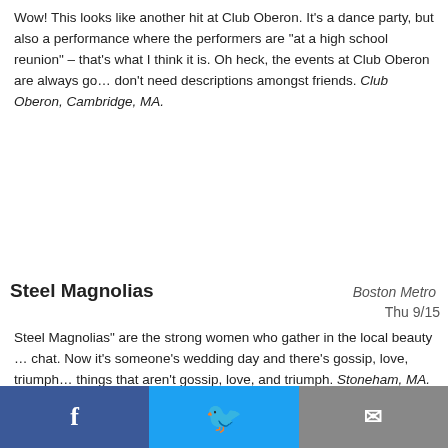Wow! This looks like another hit at Club Oberon. It's a dance party, but also a performance where the performers are "at a high school reunion" – that's what I think it is. Oh heck, the events at Club Oberon are always go… don't need descriptions amongst friends. Club Oberon, Cambridge, MA.
Steel Magnolias
Boston Metro
Thu 9/15
Steel Magnolias" are the strong women who gather in the local beauty … chat. Now it's someone's wedding day and there's gossip, love, triumph… things that aren't gossip, love, and triumph. Stoneham, MA.
Travel
Civil War Living History Weekend
Connecticut